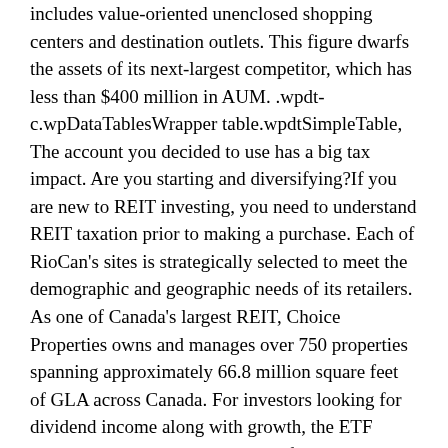includes value-oriented unenclosed shopping centers and destination outlets. This figure dwarfs the assets of its next-largest competitor, which has less than $400 million in AUM. .wpdt-c.wpDataTablesWrapper table.wpdtSimpleTable, The account you decided to use has a big tax impact. Are you starting and diversifying?If you are new to REIT investing, you need to understand REIT taxation prior to making a purchase. Each of RioCan's sites is strategically selected to meet the demographic and geographic needs of its retailers. As one of Canada's largest REIT, Choice Properties owns and manages over 750 properties spanning approximately 66.8 million square feet of GLA across Canada. For investors looking for dividend income along with growth, the ETF which is probably the best option for such investors is the Harvest Healthcare Leaders Income ETF (TSX:HHL).